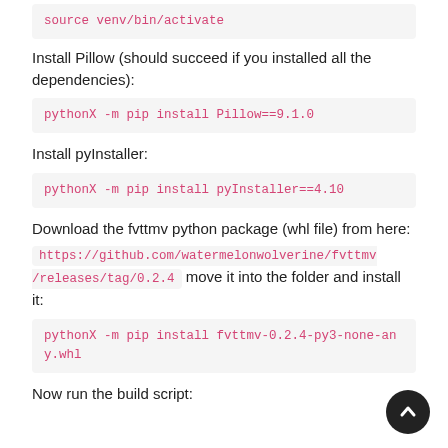source venv/bin/activate
Install Pillow (should succeed if you installed all the dependencies):
pythonX -m pip install Pillow==9.1.0
Install pyInstaller:
pythonX -m pip install pyInstaller==4.10
Download the fvttmv python package (whl file) from here:
https://github.com/watermelonwolverine/fvttmv/releases/tag/0.2.4 move it into the folder and install it:
pythonX -m pip install fvttmv-0.2.4-py3-none-any.whl
Now run the build script: